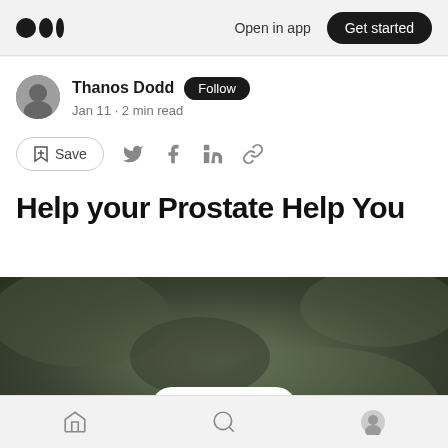Medium — Open in app   Get started
Thanos Dodd  Follow
Jan 11 · 2 min read
Help your Prostate Help You
[Figure (photo): Dark blurry nature/foliage background image with a reaction bar overlay showing a clapping icon with '--' and a comment icon]
Home  Search  Profile